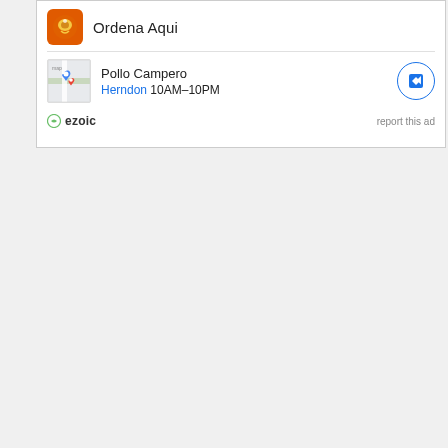[Figure (screenshot): Advertisement box showing 'Ordena Aqui' with orange icon logo and 'Pollo Campero Herndon 10AM-10PM' listing with map thumbnail and navigation circle button]
ezoic  report this ad
[Figure (screenshot): Advertisement: 'Research Business Insurance' with Yahoo Search. 'See search results for business insurance on Yahoo. Compare top options now.' with a 'Learn More' button.]